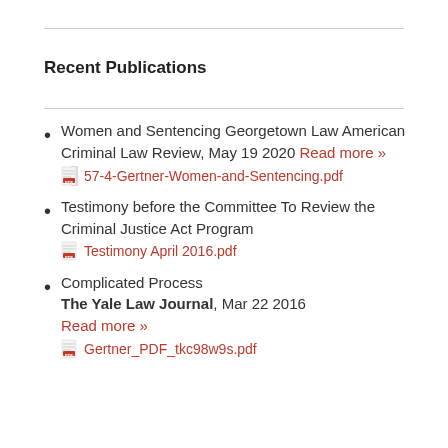Recent Publications
Women and Sentencing Georgetown Law American Criminal Law Review, May 19 2020 Read more » 57-4-Gertner-Women-and-Sentencing.pdf
Testimony before the Committee To Review the Criminal Justice Act Program Testimony April 2016.pdf
Complicated Process The Yale Law Journal, Mar 22 2016 Read more » Gertner_PDF_tkc98w9s.pdf